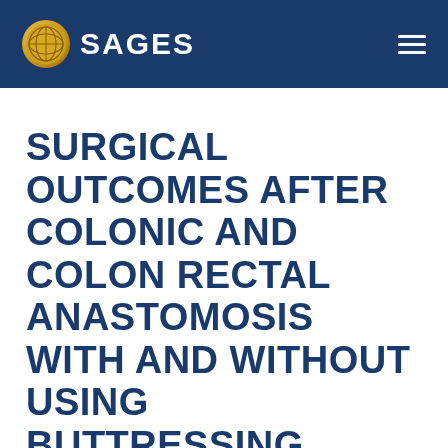SAGES
SURGICAL OUTCOMES AFTER COLONIC AND COLON RECTAL ANASTOMOSIS WITH AND WITHOUT USING BUTTRESSING